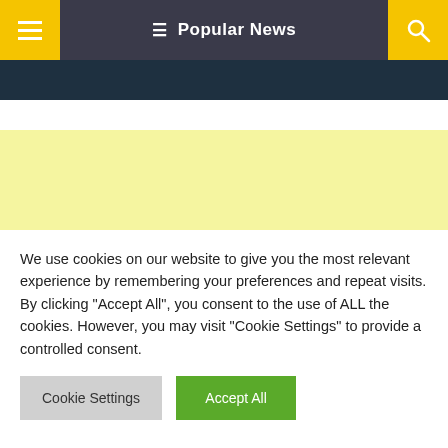☰  Popular News 🔍
[Figure (other): Yellow banner advertisement placeholder area]
We use cookies on our website to give you the most relevant experience by remembering your preferences and repeat visits. By clicking "Accept All", you consent to the use of ALL the cookies. However, you may visit "Cookie Settings" to provide a controlled consent.
Cookie Settings | Accept All